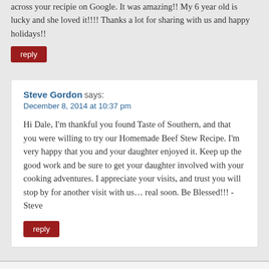across your recipie on Google. It was amazing!! My 6 year old is lucky and she loved it!!!! Thanks a lot for sharing with us and happy holidays!!
reply
Steve Gordon says:
December 8, 2014 at 10:37 pm
Hi Dale, I'm thankful you found Taste of Southern, and that you were willing to try our Homemade Beef Stew Recipe. I'm very happy that you and your daughter enjoyed it. Keep up the good work and be sure to get your daughter involved with your cooking adventures. I appreciate your visits, and trust you will stop by for another visit with us… real soon. Be Blessed!!! -Steve
reply
Karen says:
November 28, 2014 at 11:27 pm
WOW, I made this stew today after a quick Google search for